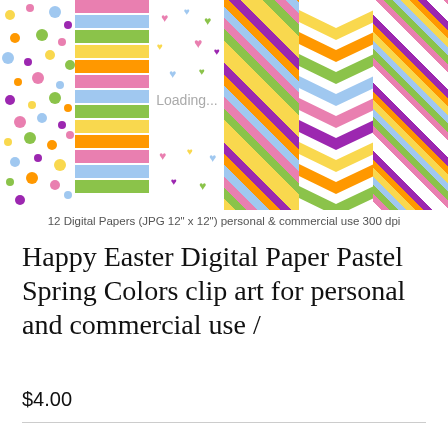[Figure (illustration): Product preview image showing 6 panels of colorful Easter digital paper patterns: polka dots, rainbow stripes, hearts, plaid diamonds, chevrons, and diagonal stripes. Text 'Loading...' overlaid on third panel.]
12 Digital Papers (JPG  12" x 12")  personal & commercial use 300 dpi
Happy Easter Digital Paper Pastel Spring Colors clip art for personal and commercial use /
$4.00